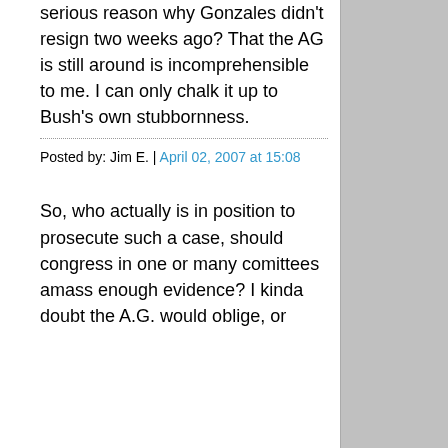serious reason why Gonzales didn't resign two weeks ago? That the AG is still around is incomprehensible to me. I can only chalk it up to Bush's own stubbornness.
Posted by: Jim E. | April 02, 2007 at 15:08
So, who actually is in position to prosecute such a case, should congress in one or many comittees amass enough evidence? I kinda doubt the A.G. would oblige, or